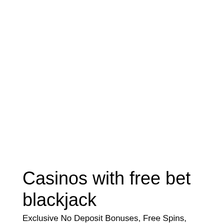Casinos with free bet blackjack
Exclusive No Deposit Bonuses, Free Spins,